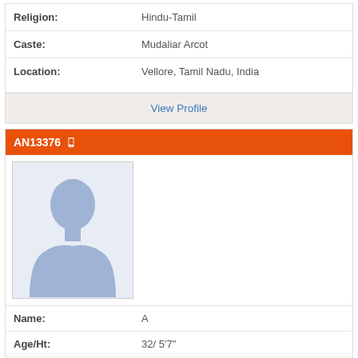| Religion: | Hindu-Tamil |
| Caste: | Mudaliar Arcot |
| Location: | Vellore, Tamil Nadu, India |
View Profile
AN13376
[Figure (illustration): Silhouette placeholder profile photo of a male person]
| Name: | A |
| Age/Ht: | 32/ 5'7" |
| Status: | Unmarried |